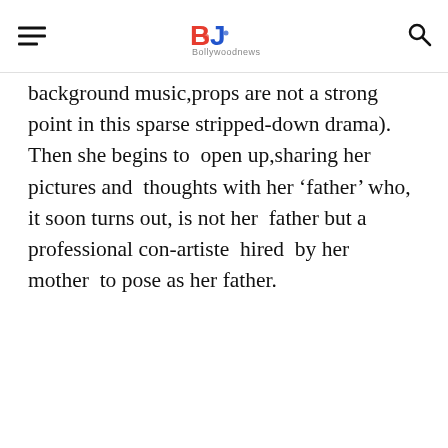Bollywoodnews
background music,props  are not a strong point in this sparse stripped-down drama). Then she begins to  open up,sharing her pictures and  thoughts with her ‘father’ who, it soon turns out, is not her  father but a professional con-artiste  hired  by her mother  to pose as her father.